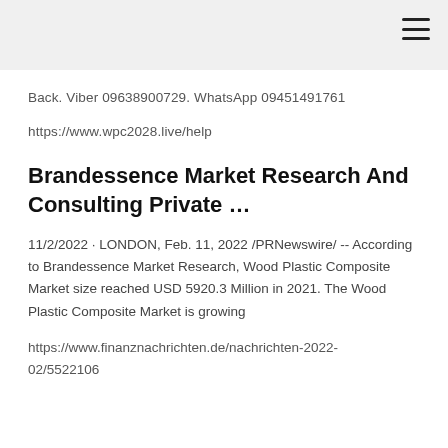Back. Viber 09638900729. WhatsApp 09451491761
https://www.wpc2028.live/help
Brandessence Market Research And Consulting Private …
11/2/2022 · LONDON, Feb. 11, 2022 /PRNewswire/ -- According to Brandessence Market Research, Wood Plastic Composite Market size reached USD 5920.3 Million in 2021. The Wood Plastic Composite Market is growing
https://www.finanznachrichten.de/nachrichten-2022-02/5522106